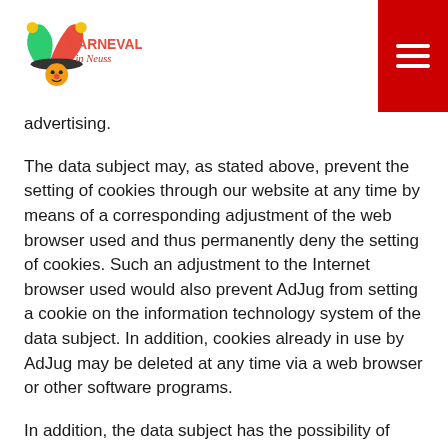Karneval in Neuss
advertising.
The data subject may, as stated above, prevent the setting of cookies through our website at any time by means of a corresponding adjustment of the web browser used and thus permanently deny the setting of cookies. Such an adjustment to the Internet browser used would also prevent AdJug from setting a cookie on the information technology system of the data subject. In addition, cookies already in use by AdJug may be deleted at any time via a web browser or other software programs.
In addition, the data subject has the possibility of objecting to a collection of data relating to a use of this Internet site that are generated by the AdJug cookie as well as the processing of these data by AdJug and the chance to preclude any such. For this purpose, the data subject must press the consumer cookie opt-out link under https://www.de.adjug.com/datenschutz.html, which sets an opt-out cookie. The opt-out cookie, set for this purpose, is placed on the information technology system used by the data